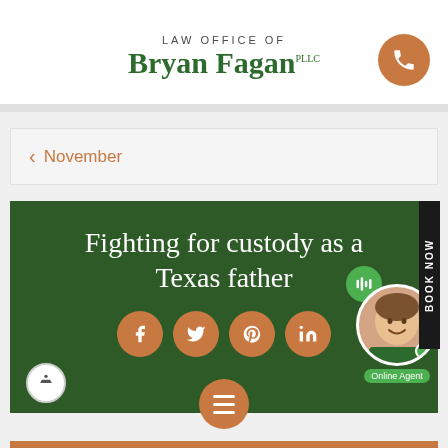LAW OFFICE OF Bryan Fagan PLLC
November
[Figure (screenshot): Law office website screenshot showing green banner with text 'Fighting for custody as a Texas father', social media icons (Facebook, Twitter, Pinterest, LinkedIn), accessibility button, menu hamburger button, online agent chat widget, and Book Now sidebar. Bottom navigation shows PREV POST and NEXT POST buttons in orange.]
PREV POST
NEXT POST